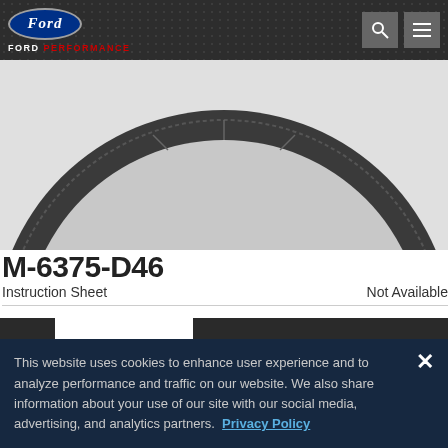Ford Performance
[Figure (photo): Top portion of a flywheel/ring gear component, showing a circular metal disc with gear teeth around the outer edge, photographed against a light background.]
M-6375-D46
Instruction Sheet    Not Available
OVERVIEW    SIMILAR PARTS
This website uses cookies to enhance user experience and to analyze performance and traffic on our website. We also share information about your use of our site with our social media, advertising, and analytics partners. Privacy Policy